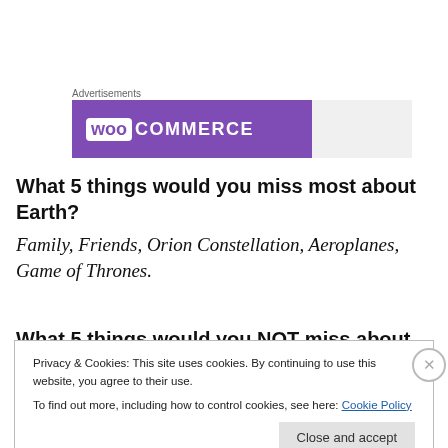Advertisements
[Figure (logo): WooCommerce advertisement banner with purple background and white WooCommerce logo]
What 5 things would you miss most about Earth?
Family, Friends, Orion Constellation, Aeroplanes, Game of Thrones.
Privacy & Cookies: This site uses cookies. By continuing to use this website, you agree to their use.
To find out more, including how to control cookies, see here: Cookie Policy
Close and accept